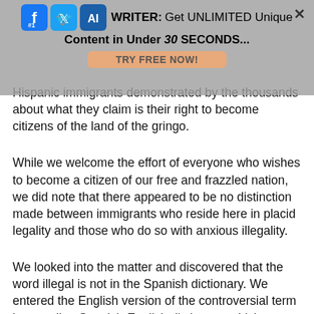[Figure (screenshot): Advertisement overlay banner with social media icons (Facebook, Twitter, and another), headline '#1 AI WRITER: Get UNLIMITED Unique Content in Under 30 SECONDS...', a 'TRY FREE NOW!' button, and a close X button. The overlay is semi-transparent gray covering the top portion of the page.]
Hispanic immigrants demonstrated by the thousands about what they claim is their right to become citizens of the land of the gringo.
While we welcome the effort of everyone who wishes to become a citizen of our free and frazzled nation, we did note that there appeared to be no distinction made between immigrants who reside here in placid legality and those who do so with anxious illegality.
We looked into the matter and discovered that the word illegal is not in the Spanish dictionary. We entered the English version of the controversial term in an online Spanish-English dictionary, which returned the following result: Spanish Matches: Sorry, no Spanish matches found.
This seemed too easy an explanation of the nationwide